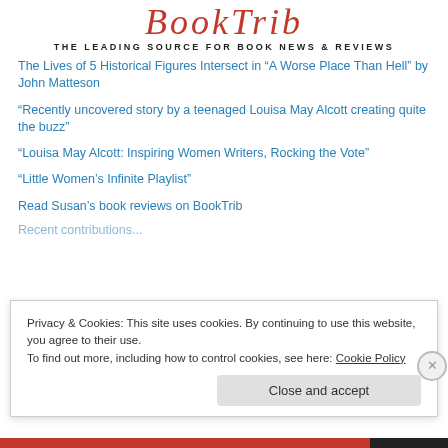THE LEADING SOURCE FOR BOOK NEWS & REVIEWS
The Lives of 5 Historical Figures Intersect in “A Worse Place Than Hell” by John Matteson
“Recently uncovered story by a teenaged Louisa May Alcott creating quite the buzz”
“Louisa May Alcott: Inspiring Women Writers, Rocking the Vote”
“Little Women’s Infinite Playlist”
Read Susan’s book reviews on BookTrib
Privacy & Cookies: This site uses cookies. By continuing to use this website, you agree to their use.
To find out more, including how to control cookies, see here: Cookie Policy
Close and accept